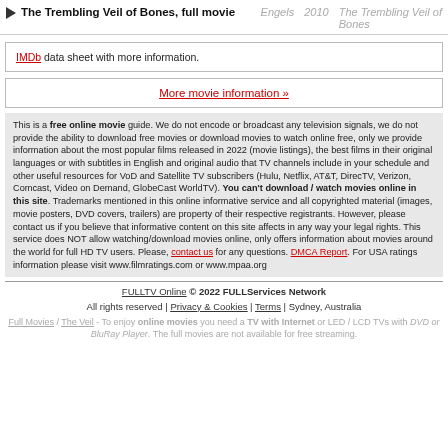The Trembling Veil of Bones, full movie | Engels | 2010 | The Trembling Veil of Bones
IMDb data sheet with more information.
More movie information »
This is a free online movie guide. We do not encode or broadcast any television signals, we do not provide the ability to download free movies or download movies to watch online free, only we provide information about the most popular films released in 2022 (movie listings), the best films in their original languages or with subtitles in English and original audio that TV channels include in your schedule and other useful resources for VoD and Satellite TV subscribers (Hulu, Netflix, AT&T, DirecTV, Verizon, Comcast, Video on Demand, GlobeCast WorldTV). You can't download / watch movies online in this site. Trademarks mentioned in this online informative service and all copyrighted material (images, movie posters, DVD covers, trailers) are property of their respective registrants. However, please contact us if you believe that informative content on this site affects in any way your legal rights. This service does NOT allow watching/download movies online, only offers information about movies around the world for full HD TV users. Please, contact us for any questions. DMCA Report. For USA ratings information please visit www.filmratings.com or www.mpaa.org
FULLTV Online © 2022 FULLServices Network
All rights reserved | Privacy & Cookies | Terms | Sydney, Australia
Full Movies / The Veil - To enjoy online movies you need a TV with Internet or LED / LCD TVs with DVD or BluRay Player. The full movies are not available for free streaming.